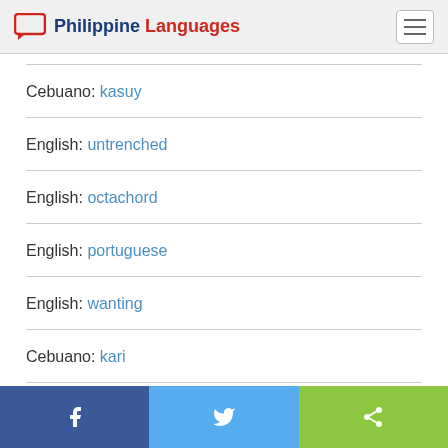Philippine Languages
Cebuano: kasuy
English: untrenched
English: octachord
English: portuguese
English: wanting
Cebuano: kari